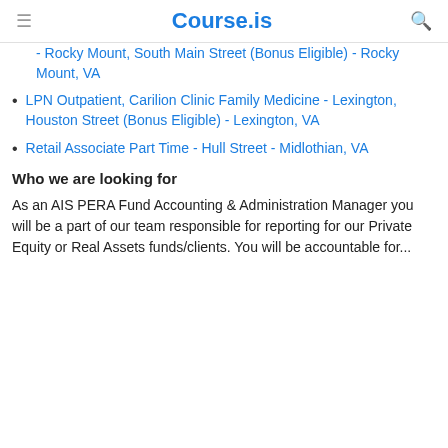Course.is
Rocky Mount, South Main Street (Bonus Eligible) - Rocky Mount, VA
LPN Outpatient, Carilion Clinic Family Medicine - Lexington, Houston Street (Bonus Eligible) - Lexington, VA
Retail Associate Part Time - Hull Street - Midlothian, VA
Who we are looking for
As an AIS PERA Fund Accounting & Administration Manager you will be a part of our team responsible for reporting for our Private Equity or Real Assets funds/clients. You will be accountable for...